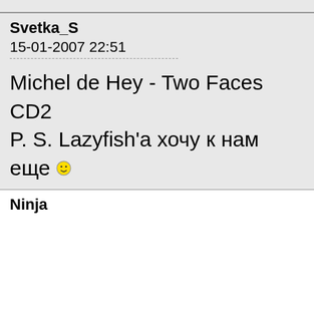Svetka_S
15-01-2007 22:51
Michel de Hey - Two Faces CD2
P. S. Lazyfish'a хочу к нам еще :)
Ninja